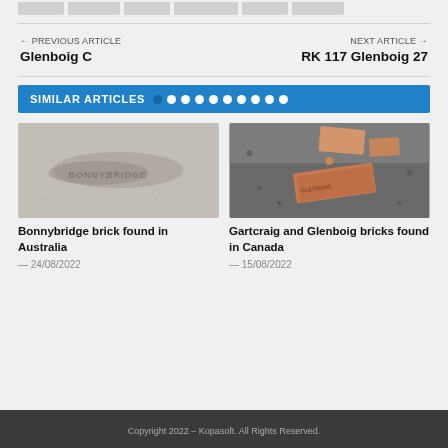[Figure (other): Row of small gray thumbnail image placeholders at top]
← PREVIOUS ARTICLE
Glenboig C
NEXT ARTICLE →
RK 117 Glenboig 27
SIMILAR ARTICLES
[Figure (photo): Close-up photo of a stone or concrete brick with embossed text, lying on a rough surface — Bonnybridge brick found in Australia]
[Figure (photo): Photo of brick fragments on gravel/asphalt surface — Gartcraig and Glenboig bricks found in Canada]
Bonnybridge brick found in Australia
— 24/08/2022
Gartcraig and Glenboig bricks found in Canada
— 15/08/2022
Copyright 2022 – Kopasoft. All Rights Reserved.